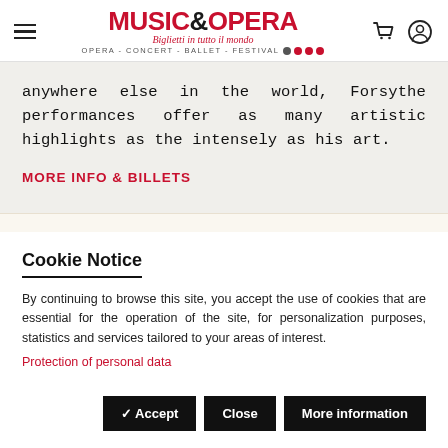MUSIC & OPERA — Biglietti in tutto il mondo — OPERA - CONCERT - BALLET - FESTIVAL
anywhere else in the world, Forsythe performances offer as many artistic highlights as the intensely as his art.
MORE INFO & BILLETS
Cookie Notice
By continuing to browse this site, you accept the use of cookies that are essential for the operation of the site, for personalization purposes, statistics and services tailored to your areas of interest.
Protection of personal data